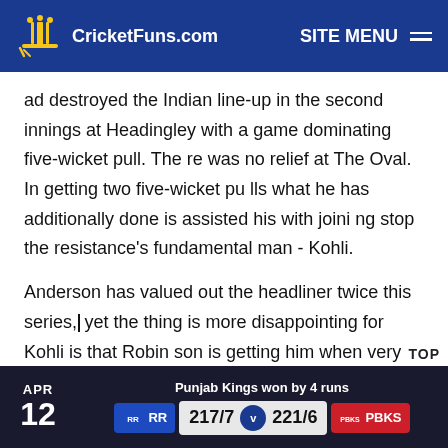CricketFuns.com  SITE MENU
ad destroyed the Indian line-up in the second innings at Headingley with a game dominating five-wicket pull. There was no relief at The Oval. In getting two five-wicket pulls what he has additionally done is assisted his with joining stop the resistance's fundamental man - Kohli.
Anderson has valued out the headliner twice this series, yet the thing is more disappointing for Kohli is that Robinson is getting him when very much set. In the primary innings at Lord's, Kohli had his eye when Robinson had hi
APR 12  Punjab Kings won by 4 runs  RR  217/7 v 221/6  PBKS